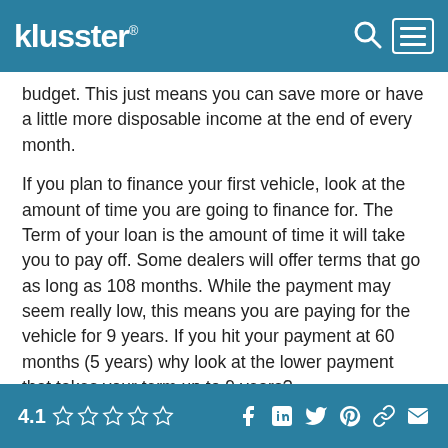klusster®
budget. This just means you can save more or have a little more disposable income at the end of every month.
If you plan to finance your first vehicle, look at the amount of time you are going to finance for. The Term of your loan is the amount of time it will take you to pay off. Some dealers will offer terms that go as long as 108 months. While the payment may seem really low, this means you are paying for the vehicle for 9 years. If you hit your payment at 60 months (5 years) why look at the lower payment that takes your term up to 9 years?
4) Find “your person”
4.1 ☆☆☆☆☆  social icons